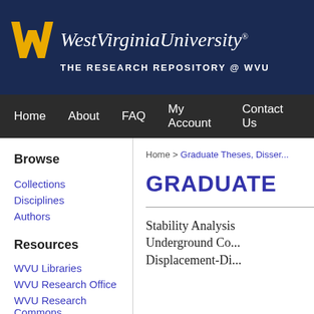[Figure (logo): West Virginia University logo with Flying W gold symbol and white text 'WestVirginiaUniversity.' on dark navy blue background, with subtitle 'THE RESEARCH REPOSITORY @ WVU']
Home   About   FAQ   My Account   Contact Us
Browse
Collections
Disciplines
Authors
Resources
WVU Libraries
WVU Research Office
WVU Research Commons
Open Access @ WVU
Home > Graduate Theses, Disser...
GRADUATE
Stability Analysis Underground Co... Displacement-Di...